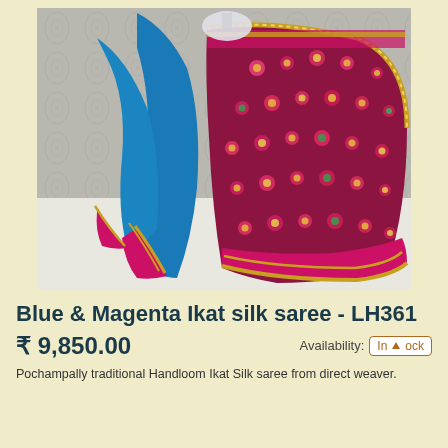[Figure (photo): Blue and magenta Ikat silk saree displayed on a mannequin/hanger against a floral wallpaper background. The saree has teal/blue body with magenta and gold border, and a heavily embroidered red/magenta pallu with floral Ikat patterns and gold zari border.]
Blue & Magenta Ikat silk saree - LH361
₹ 9,850.00
Availability: In Stock
Pochampally traditional Handloom Ikat Silk saree from direct weaver.